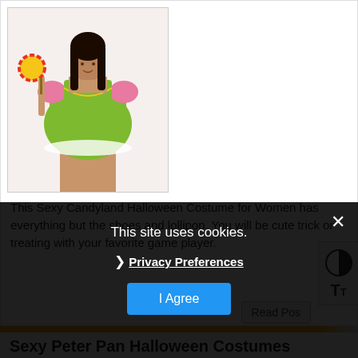[Figure (photo): Woman wearing a colorful Sexy Candyland Halloween Costume with green bodice, candy print dress, pink puff sleeves, holding a lollipop]
This Sexy Candyland Halloween Costume for Women has everything but the shoes and lollipop. You will be cute trick or treating with your favorite game player.
Read Pos
Sexy Peter Pan Halloween Costumes
This site uses cookies.
Privacy Preferences
I Agree